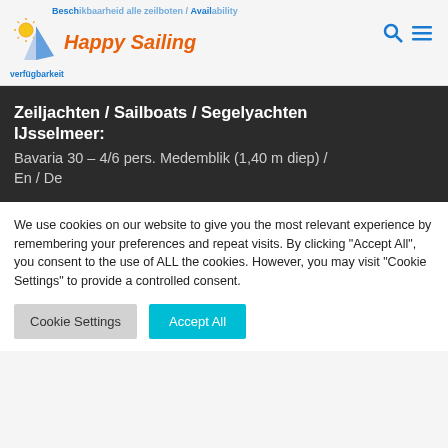Beschikbaarheid alle zeilboten / Availability all sailboats / Verfügbarkeit. Happy Sailing
Zeiljachten / Sailboats / Segelyachten IJsselmeer:
Bavaria 30 – 4/6 pers. Medemblik (1,40 m diep) / En / De
We use cookies on our website to give you the most relevant experience by remembering your preferences and repeat visits. By clicking "Accept All", you consent to the use of ALL the cookies. However, you may visit "Cookie Settings" to provide a controlled consent.
Cookie Settings | Accept All